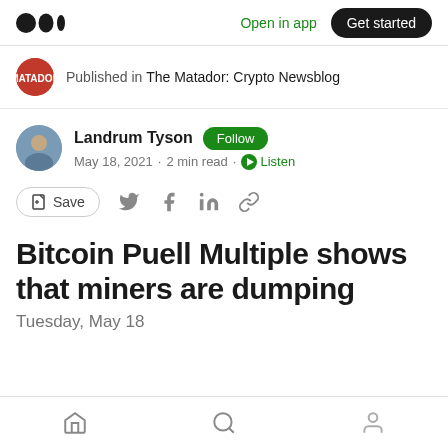Open in app | Get started
Published in The Matador: Crypto Newsblog
Landrum Tyson · Follow · May 18, 2021 · 2 min read · Listen
Save
Bitcoin Puell Multiple shows that miners are dumping
Tuesday, May 18
Home | Search | Profile